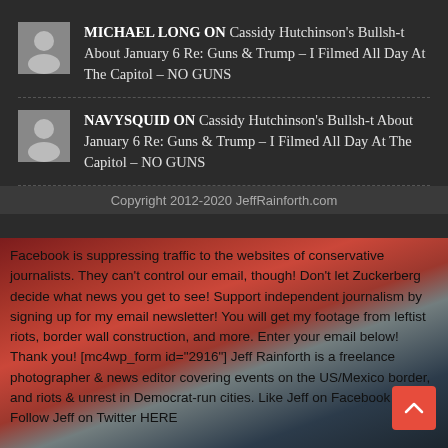MICHAEL LONG ON Cassidy Hutchinson's Bullsh-t About January 6 Re: Guns & Trump – I Filmed All Day At The Capitol – NO GUNS
NAVYSQUID ON Cassidy Hutchinson's Bullsh-t About January 6 Re: Guns & Trump – I Filmed All Day At The Capitol – NO GUNS
Copyright 2012-2020 JeffRainforth.com
[Figure (photo): American flags displayed on grass, patriotic imagery]
Facebook is suppressing traffic to the websites of conservative journalists. They can't control our email, though! Don't let Zuckerberg decide what news you get to see! Support independent journalism by signing up for my email newsletter! You will get my footage from leftist riots, border wall construction, and more. Enter your email below! Thank you! [mc4wp_form id="2916"] Jeff Rainforth is a freelance photographer & news editor covering events on the US/Mexico border, and riots & unrest in Democrat-run cities. Like Jeff on Facebook HERE Follow Jeff on Twitter HERE